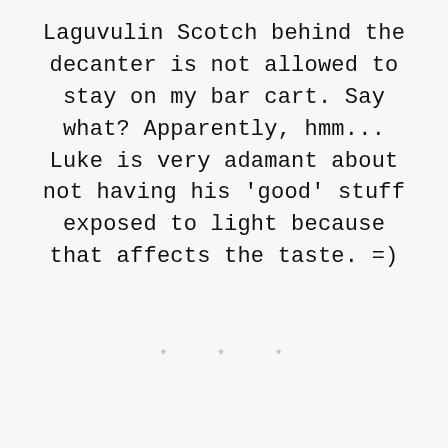Laguvulin Scotch behind the decanter is not allowed to stay on my bar cart. Say what? Apparently, hmm... Luke is very adamant about not having his 'good' stuff exposed to light because that affects the taste. =)
* * *